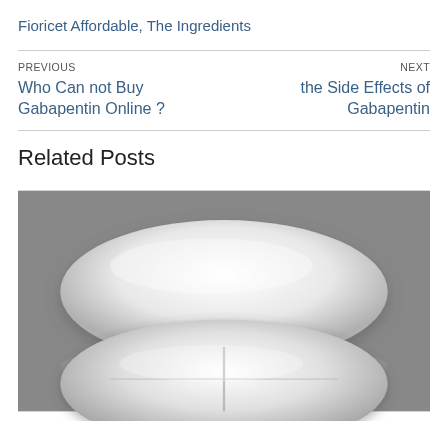Fioricet Affordable, The Ingredients
PREVIOUS
Who Can not Buy Gabapentin Online ?
NEXT
the Side Effects of Gabapentin
Related Posts
[Figure (photo): Close-up photograph of two white oval/capsule-shaped pills on a gray background — one viewed from above (smooth top) and one from below (showing a score line dividing it).]